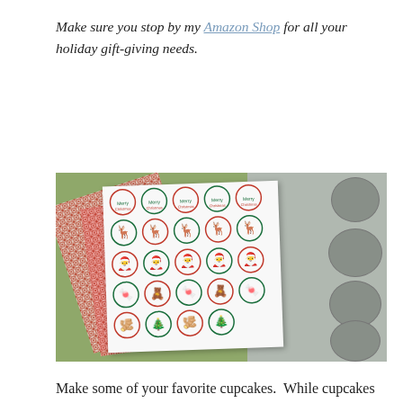Make sure you stop by my Amazon Shop for all your holiday gift-giving needs.
[Figure (photo): Photo of Christmas cupcake toppers printed on a white sheet, surrounded by red patterned paper and green background, next to a metal muffin/cupcake baking tray. The printed sheet shows circles with holiday images including Merry Christmas text, reindeer, Santa, candy canes, teddy bears, gingerbread men, Christmas trees, stockings, and elves.]
Make some of your favorite cupcakes.  While cupcakes are baking and cooling make your